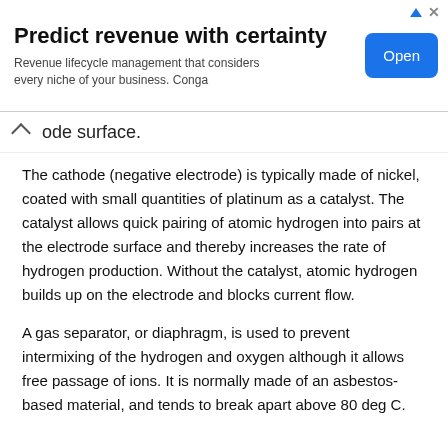[Figure (other): Advertisement banner: 'Predict revenue with certainty' — Revenue lifecycle management that considers every niche of your business. Conga. With a blue 'Open' button.]
ode surface.
The cathode (negative electrode) is typically made of nickel, coated with small quantities of platinum as a catalyst. The catalyst allows quick pairing of atomic hydrogen into pairs at the electrode surface and thereby increases the rate of hydrogen production. Without the catalyst, atomic hydrogen builds up on the electrode and blocks current flow.
A gas separator, or diaphragm, is used to prevent intermixing of the hydrogen and oxygen although it allows free passage of ions. It is normally made of an asbestos-based material, and tends to break apart above 80 deg C.